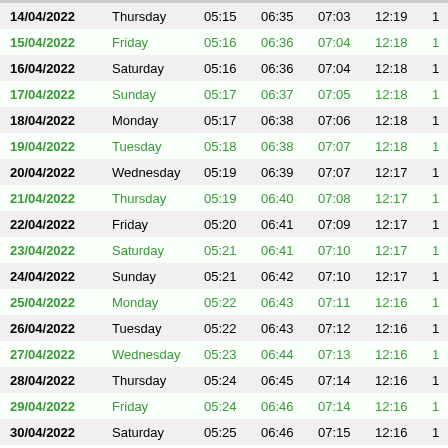| Date | Day | Col3 | Col4 | Col5 | Col6 | Col7 |
| --- | --- | --- | --- | --- | --- | --- |
| 14/04/2022 | Thursday | 05:15 | 06:35 | 07:03 | 12:19 | 1 |
| 15/04/2022 | Friday | 05:16 | 06:36 | 07:04 | 12:18 | 1 |
| 16/04/2022 | Saturday | 05:16 | 06:36 | 07:04 | 12:18 | 1 |
| 17/04/2022 | Sunday | 05:17 | 06:37 | 07:05 | 12:18 | 1 |
| 18/04/2022 | Monday | 05:17 | 06:38 | 07:06 | 12:18 | 1 |
| 19/04/2022 | Tuesday | 05:18 | 06:38 | 07:07 | 12:18 | 1 |
| 20/04/2022 | Wednesday | 05:19 | 06:39 | 07:07 | 12:17 | 1 |
| 21/04/2022 | Thursday | 05:19 | 06:40 | 07:08 | 12:17 | 1 |
| 22/04/2022 | Friday | 05:20 | 06:41 | 07:09 | 12:17 | 1 |
| 23/04/2022 | Saturday | 05:21 | 06:41 | 07:10 | 12:17 | 1 |
| 24/04/2022 | Sunday | 05:21 | 06:42 | 07:10 | 12:17 | 1 |
| 25/04/2022 | Monday | 05:22 | 06:43 | 07:11 | 12:16 | 1 |
| 26/04/2022 | Tuesday | 05:22 | 06:43 | 07:12 | 12:16 | 1 |
| 27/04/2022 | Wednesday | 05:23 | 06:44 | 07:13 | 12:16 | 1 |
| 28/04/2022 | Thursday | 05:24 | 06:45 | 07:14 | 12:16 | 1 |
| 29/04/2022 | Friday | 05:24 | 06:46 | 07:14 | 12:16 | 1 |
| 30/04/2022 | Saturday | 05:25 | 06:46 | 07:15 | 12:16 | 1 |